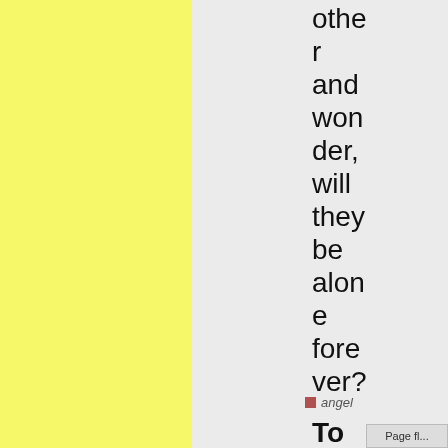[Figure (illustration): Yellow textured panel on the left side of the page]
[Figure (illustration): Gray panel in the center-right area of the page]
other and wonder, will they be alone forever?
To be continued...?
angel
Page fl...